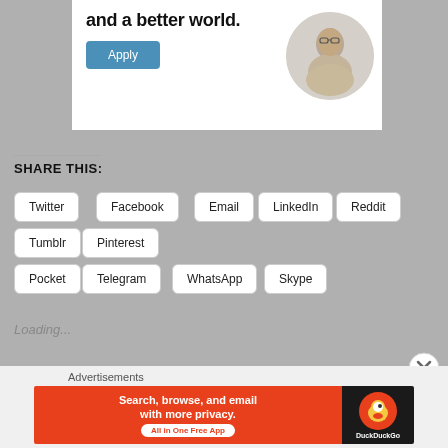[Figure (illustration): Advertisement banner with text 'and a better world.' and a blue Apply button, with a circular photo of a man thinking at a desk on the right side]
SHARE THIS:
Twitter
Facebook
Email
LinkedIn
Reddit
Tumblr
Pinterest
Pocket
Telegram
WhatsApp
Skype
Loading...
[Figure (illustration): DuckDuckGo advertisement: 'Search, browse, and email with more privacy. All in One Free App' on orange background with DuckDuckGo logo on dark background]